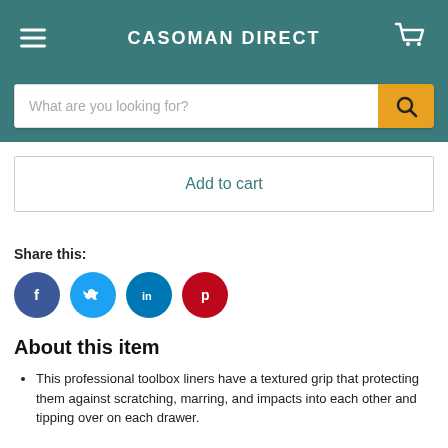CASOMAN DIRECT
What are you looking for?
Add to cart
Share this:
[Figure (illustration): Social media share icons: Facebook (blue circle with f), Twitter (light blue circle with bird), LinkedIn (teal circle with in), Pinterest (red circle with p)]
About this item
This professional toolbox liners have a textured grip that protecting them against scratching, marring, and impacts into each other and tipping over on each drawer.